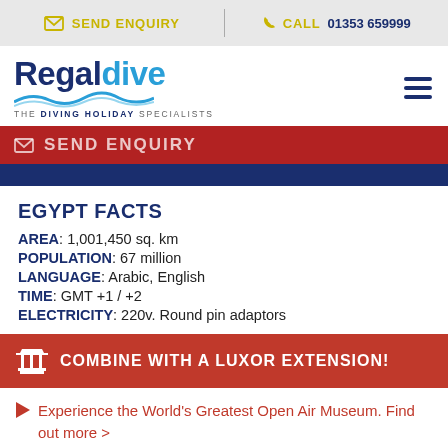SEND ENQUIRY | CALL 01353 659999
[Figure (logo): Regaldive logo with wave graphic and tagline 'THE DIVING HOLIDAY SPECIALISTS']
SEND ENQUIRY
EGYPT FACTS
AREA: 1,001,450 sq. km
POPULATION: 67 million
LANGUAGE: Arabic, English
TIME: GMT +1 / +2
ELECTRICITY: 220v. Round pin adaptors
COMBINE WITH A LUXOR EXTENSION!
Experience the World's Greatest Open Air Museum. Find out more >